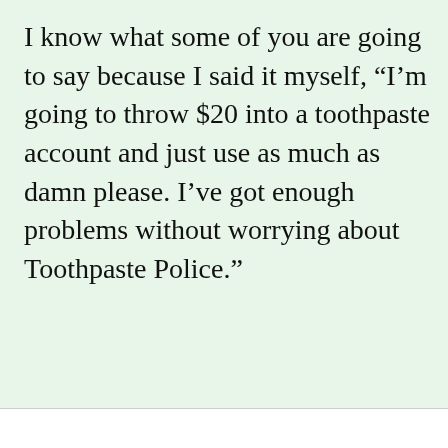I know what some of you are going to say because I said it myself, “I’m going to throw $20 into a toothpaste account and just use as much as damn please. I’ve got enough problems without worrying about Toothpaste Police.”